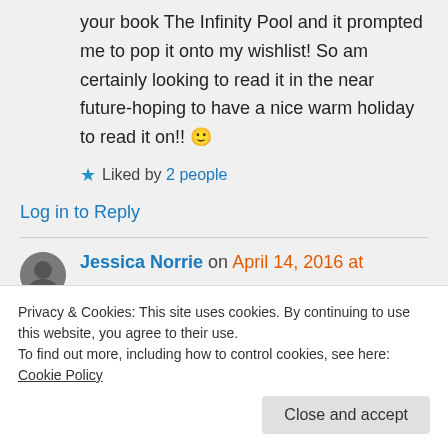your book The Infinity Pool and it prompted me to pop it onto my wishlist! So am certainly looking to read it in the near future-hoping to have a nice warm holiday to read it on!! 🙂
★ Liked by 2 people
Log in to Reply
Jessica Norrie on April 14, 2016 at
Privacy & Cookies: This site uses cookies. By continuing to use this website, you agree to their use.
To find out more, including how to control cookies, see here: Cookie Policy